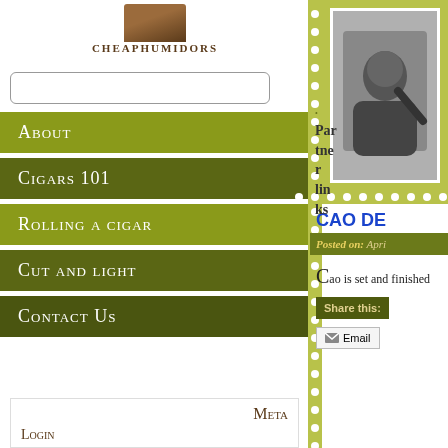[Figure (logo): Cheap Humidors logo with brown humidor box image and text CHEAPHUMIDORS]
CHEAPHUMIDORS
Partner Links
About
Cigars 101
Rolling a cigar
Cut and light
Contact Us
[Figure (photo): Black and white photo of a bearded man on olive/yellow stamp background]
CAO DE
Posted on: Apri
CAO is set and finished
Share this:
Email
Meta
Login